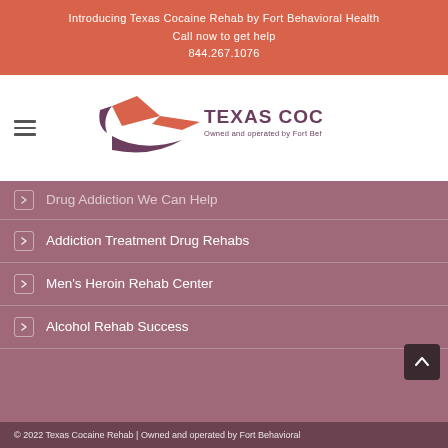Introducing Texas Cocaine Rehab by Fort Behavioral Health
Call now to get help
844.267.1076
[Figure (logo): Texas Cocaine Rehab logo with orange and dark star/swoosh graphic and text 'TEXAS COCAINE REHAB' with tagline 'Owned and operated by Fort Behavioral Health.']
Drug Addiction We Can Help
Addiction Treatment Drug Rehabs
Men's Heroin Rehab Center
Alcohol Rehab Success
© 2022 Texas Cocaine Rehab | Owned and operated by Fort Behavioral Health